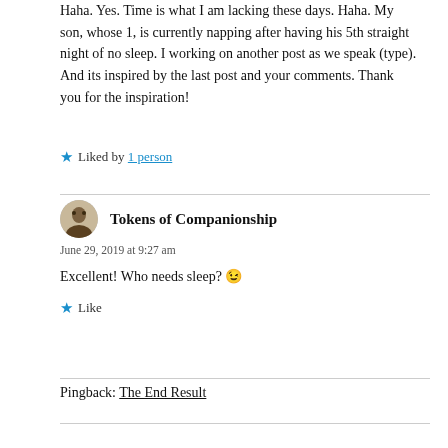Haha. Yes. Time is what I am lacking these days. Haha. My son, whose 1, is currently napping after having his 5th straight night of no sleep. I working on another post as we speak (type). And its inspired by the last post and your comments. Thank you for the inspiration!
★ Liked by 1 person
Tokens of Companionship
June 29, 2019 at 9:27 am
Excellent! Who needs sleep? 😉
★ Like
Pingback: The End Result